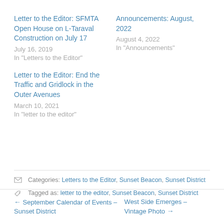Letter to the Editor: SFMTA Open House on L-Taraval Construction on July 17
July 16, 2019
In "Letters to the Editor"
Announcements: August, 2022
August 4, 2022
In "Announcements"
Letter to the Editor: End the Traffic and Gridlock in the Outer Avenues
March 10, 2021
In "letter to the editor"
Categories: Letters to the Editor, Sunset Beacon, Sunset District
Tagged as: letter to the editor, Sunset Beacon, Sunset District
← September Calendar of Events – Sunset District
West Side Emerges – Vintage Photo →